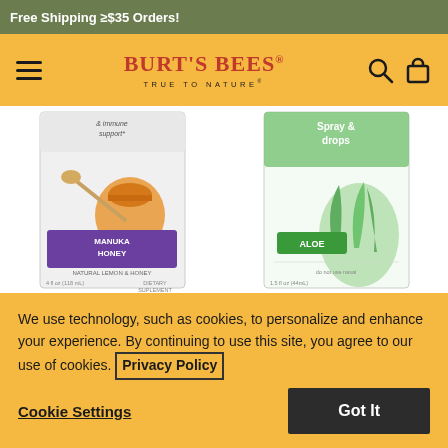Free Shipping ≥ $35 Orders!
[Figure (logo): Burt's Bees logo with tagline TRUE TO NATURE]
[Figure (photo): Burt's Bees Kids Nighttime Cough Syrup product image with Manuka Honey label]
Burt's Bees Kids Nighttime Cough Syrup
[Figure (photo): Burt's Bees Kids Saline Spray And Drops product image with Aloe label]
Burt's Bees Kids Saline Spray And Drops
[Figure (other): 4 and a half star rating for Nighttime Cough Syrup]
[Figure (other): 5 star rating for Saline Spray And Drops]
We use technology, such as cookies, to personalize and enhance your experience. By continuing to use this site, you agree to our use of cookies. Privacy Policy
Cookie Settings
Got It